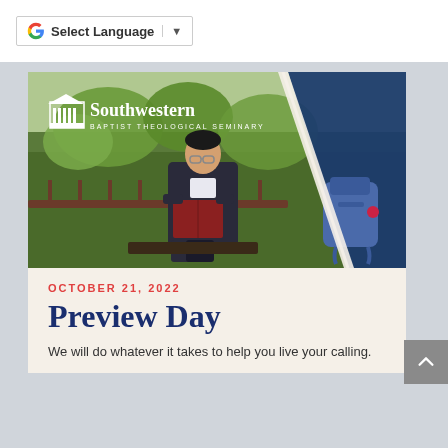G Select Language ▼
[Figure (photo): A young Asian man in a dark blazer sits outdoors on a bench reading a red book. The Southwestern Baptist Theological Seminary logo and text appear in white in the upper left. A blue diagonal design element with a blue backpack appears on the right side. Campus greenery is visible in the background.]
OCTOBER 21, 2022
Preview Day
We will do whatever it takes to help you live your calling.